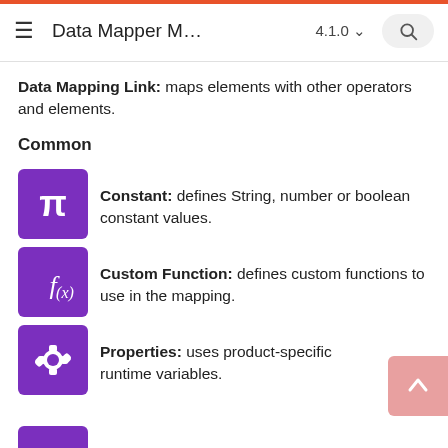Data Mapper M… 4.1.0
Data Mapping Link: maps elements with other operators and elements.
Common
[Figure (illustration): Purple square icon with pi (π) symbol in white]
Constant: defines String, number or boolean constant values.
[Figure (illustration): Purple square icon with f(x) custom function symbol in white italic]
Custom Function: defines custom functions to use in the mapping.
[Figure (illustration): Purple square icon with gear/settings symbol in white]
Properties: uses product-specific runtime variables.